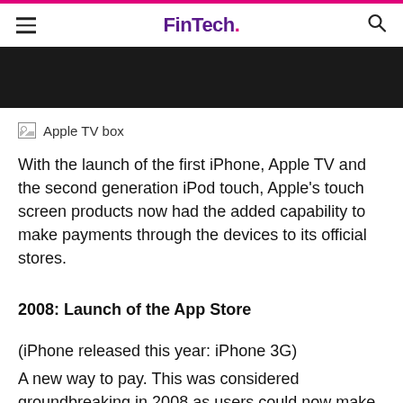FinTech.
[Figure (photo): Dark banner image at top of article]
[Figure (photo): Apple TV box (broken image placeholder)]
With the launch of the first iPhone, Apple TV and the second generation iPod touch, Apple's touch screen products now had the added capability to make payments through the devices to its official stores.
2008: Launch of the App Store
(iPhone released this year: iPhone 3G)
A new way to pay. This was considered groundbreaking in 2008 as users could now make payments through a